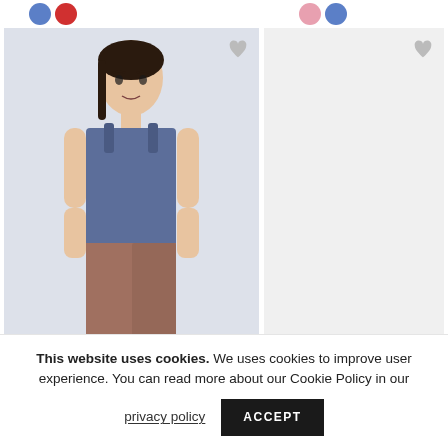[Figure (photo): Color swatches at top: blue and red circles on left side, pink and blue circles on right side]
[Figure (photo): A woman wearing a blue sleeveless tank top and brown leggings, posing against a light background. A 'beeloved fabric' badge is shown at the bottom right of the image.]
This website uses cookies. We uses cookies to improve user experience. You can read more about our Cookie Policy in our
privacy policy
ACCEPT